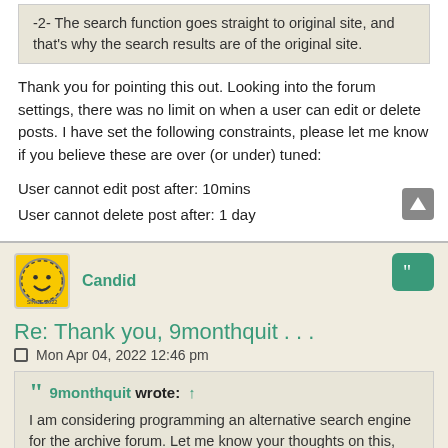-2- The search function goes straight to original site, and that's why the search results are of the original site.
Thank you for pointing this out. Looking into the forum settings, there was no limit on when a user can edit or delete posts. I have set the following constraints, please let me know if you believe these are over (or under) tuned:
User cannot edit post after: 10mins
User cannot delete post after: 1 day
Candid
Re: Thank you, 9monthquit . . .
Mon Apr 04, 2022 12:46 pm
9monthquit wrote: ↑ I am considering programming an alternative search engine for the archive forum. Let me know your thoughts on this, and thanks for pointing this out.
I think it'd be great, but not if it's going to mean a big outlay for you. I'm grateful for this site just as it is.